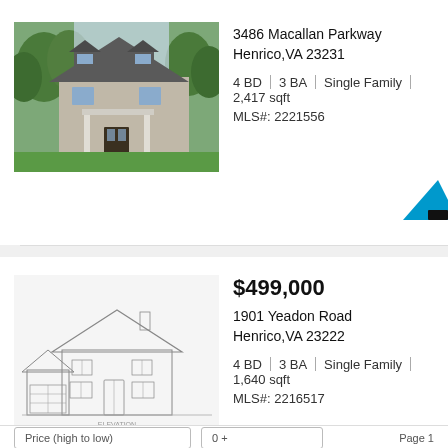[Figure (photo): Exterior photo of a two-story stone and siding single-family home with green lawn and trees]
3486 Macallan Parkway
Henrico, VA 23231
4 BD | 3 BA | Single Family | 2,417 sqft
MLS#: 2221556
[Figure (illustration): Architectural sketch/elevation drawing of a two-story single-family home with garage]
$499,000
1901 Yeadon Road
Henrico, VA 23222
4 BD | 3 BA | Single Family | 1,640 sqft
MLS#: 2216517
Price (high to low)
0 +
Page 1